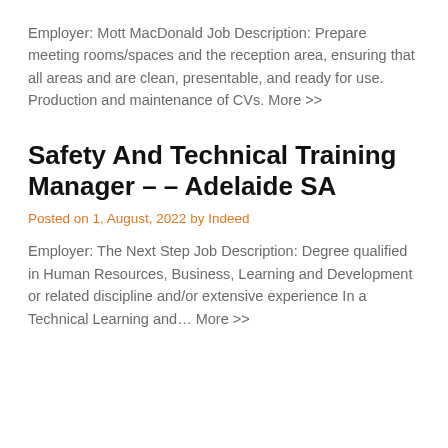Employer: Mott MacDonald Job Description: Prepare meeting rooms/spaces and the reception area, ensuring that all areas and are clean, presentable, and ready for use. Production and maintenance of CVs. More >>
Safety And Technical Training Manager – – Adelaide SA
Posted on 1, August, 2022 by Indeed
Employer: The Next Step Job Description: Degree qualified in Human Resources, Business, Learning and Development or related discipline and/or extensive experience In a Technical Learning and... More >>